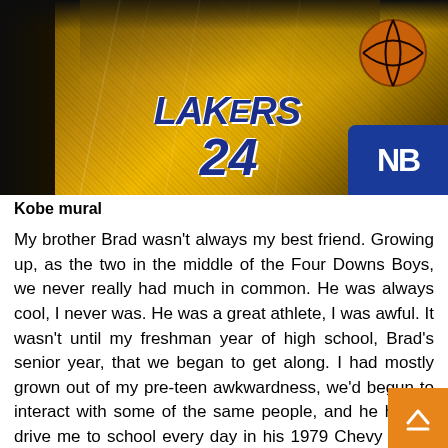[Figure (photo): Photo of a Kobe Bryant Lakers jersey mural showing #24 yellow and purple Lakers uniform with basketball, photographed at an angle on what appears to be a surface]
Kobe mural
My brother Brad wasn't always my best friend. Growing up, as the two in the middle of the Four Downs Boys, we never really had much in common. He was always cool, I never was. He was a great athlete, I was awful. It wasn't until my freshman year of high school, Brad's senior year, that we began to get along. I had mostly grown out of my pre-teen awkwardness, we'd begun to interact with some of the same people, and he had to drive me to school every day in his 1979 Chevy M... By the time he moved to Colorado for college and I mo... Wisconsin for my dad's new job, we had become friendly.